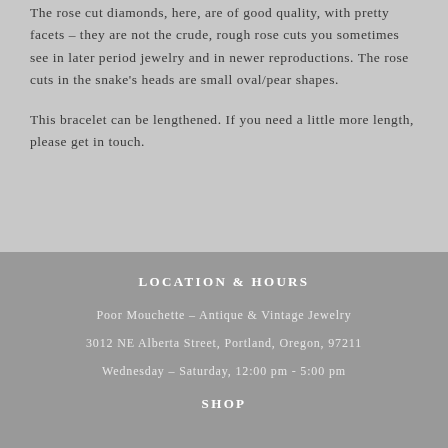The rose cut diamonds, here, are of good quality, with pretty facets – they are not the crude, rough rose cuts you sometimes see in later period jewelry and in newer reproductions. The rose cuts in the snake's heads are small oval/pear shapes.
This bracelet can be lengthened. If you need a little more length, please get in touch.
LOCATION & HOURS
Poor Mouchette – Antique & Vintage Jewelry
3012 NE Alberta Street, Portland, Oregon, 97211
Wednesday – Saturday, 12:00 pm - 5:00 pm
SHOP